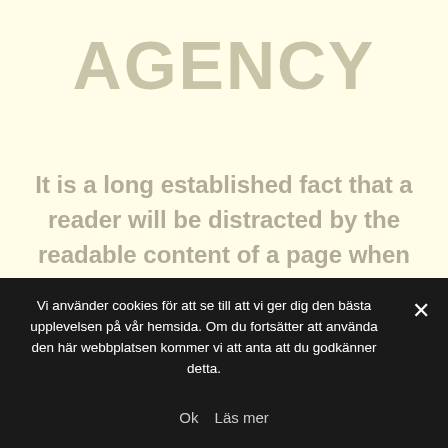AGENCY
It is a long established fact that a reader will be distracted by the readable content of a page when looking at its layout. The point of using Lorem Ipsum is that it has
Vi använder cookies för att se till att vi ger dig den bästa upplevelsen på vår hemsida. Om du fortsätter att använda den här webbplatsen kommer vi att anta att du godkänner detta.
Ok  Läs mer